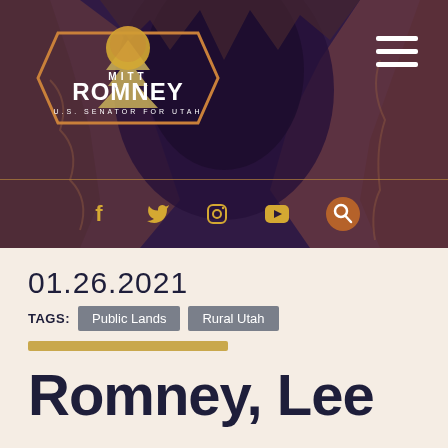[Figure (screenshot): Mitt Romney U.S. Senator for Utah website header banner with canyon background, logo, hamburger menu, and social media icons (Facebook, Twitter, Instagram, YouTube, Search)]
01.26.2021
TAGS: Public Lands  Rural Utah
Romney, Lee